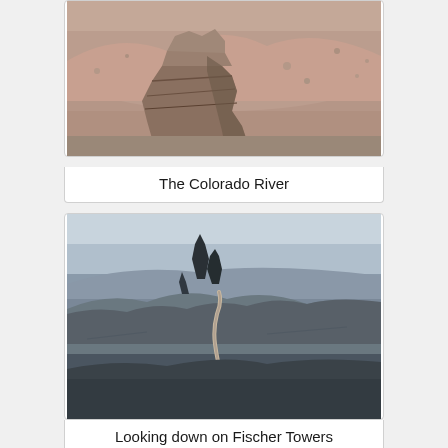[Figure (photo): Aerial or elevated view of rocky desert landscape along the Colorado River, featuring jagged sandstone rock formations in foreground against a reddish-brown barren hillside background.]
The Colorado River
[Figure (photo): Aerial view looking down on Fischer Towers area with tall dark spire rock formations, winding road cutting through a vast canyon landscape with layered mesas in the background under a partly cloudy sky.]
Looking down on Fischer Towers